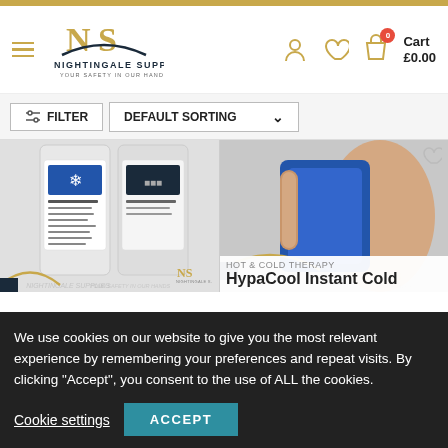[Figure (logo): Nightingale Supplies logo with NS monogram and text 'NIGHTINGALE SUPPLIES YOUR SAFETY IN OUR HANDS']
Cart £0.00
FILTER
DEFAULT SORTING
[Figure (photo): Left product image showing cold pack packaging with blue thermometer icons and product instructions, with Nightingale Supplies watermark]
[Figure (photo): Right product image showing a hand holding a blue instant cold pack, with NS logo watermark]
HOT & COLD THERAPY
HypaCool Instant Cold
We use cookies on our website to give you the most relevant experience by remembering your preferences and repeat visits. By clicking "Accept", you consent to the use of ALL the cookies.
Cookie settings
ACCEPT